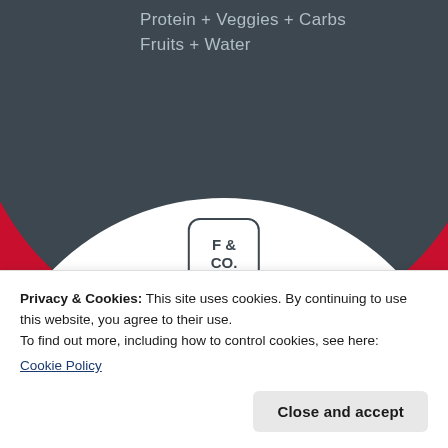[Figure (logo): Family & Co. Nutrition website screenshot showing a red background with a dark circle containing text 'Protein + Veggies + Carbs Fruits + Water', a white circle with the F&CO logo box and brand name 'FAMILY & CO. NUTRITION']
Protein + Veggies + Carbs
Fruits + Water
FAMILY & CO.
NUTRITION
Privacy & Cookies: This site uses cookies. By continuing to use this website, you agree to their use.
To find out more, including how to control cookies, see here:
Cookie Policy
Close and accept